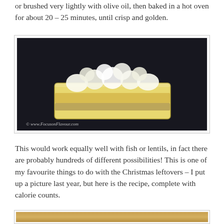or brushed very lightly with olive oil, then baked in a hot oven for about 20 – 25 minutes, until crisp and golden.
[Figure (photo): A glass rectangular baking dish filled with a layered dessert or savory dish with a yellow custard/cream layer topped with white meringue or pastry peaks, set against a dark background. Watermark reads: © www.FocusonFlavour.com]
This would work equally well with fish or lentils, in fact there are probably hundreds of different possibilities! This is one of my favourite things to do with the Christmas leftovers – I put up a picture last year, but here is the recipe, complete with calorie counts.
[Figure (photo): Partial view of another food photograph, cropped at bottom of page.]